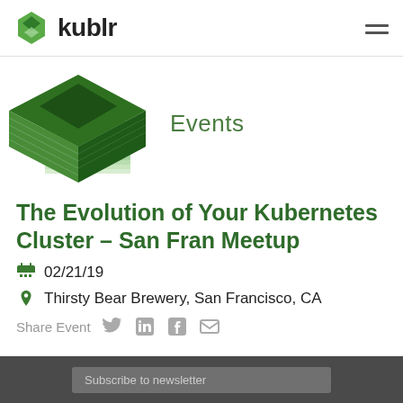kublr
[Figure (logo): Kublr logo: green hexagon icon with diamond shape and diagonal lines, beside bold text 'kublr']
[Figure (illustration): 3D geometric cube/box illustration in shades of green, with stacked layered faces, representing Kubernetes cluster]
Events
The Evolution of Your Kubernetes Cluster – San Fran Meetup
02/21/19
Thirsty Bear Brewery, San Francisco, CA
Share Event
Subscribe to newsletter